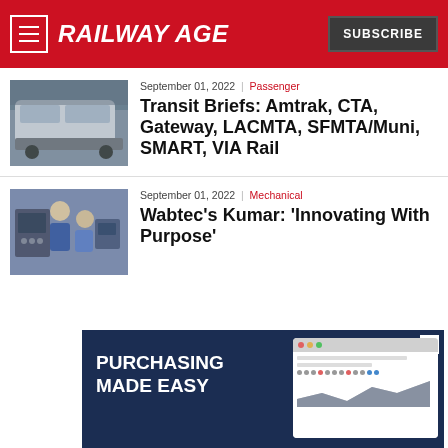RAILWAY AGE
September 01, 2022 | Passenger
Transit Briefs: Amtrak, CTA, Gateway, LACMTA, SFMTA/Muni, SMART, VIA Rail
September 01, 2022 | Mechanical
Wabtec's Kumar: 'Innovating With Purpose'
[Figure (screenshot): Advertisement banner: dark navy background with text 'PURCHASING MADE EASY' on left and a software UI screenshot on right showing a browser window with dots and a chart]
SUBSCRIBE